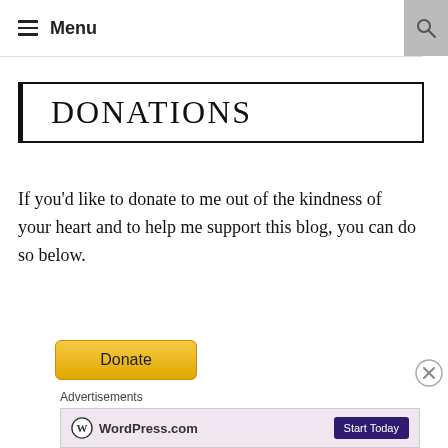≡ Menu
DONATIONS
If you'd like to donate to me out of the kindness of your heart and to help me support this blog, you can do so below.
[Figure (other): Yellow Donate button from PayPal or similar donation service]
Advertisements
[Figure (other): WordPress.com advertisement banner with 'Start Today' button]